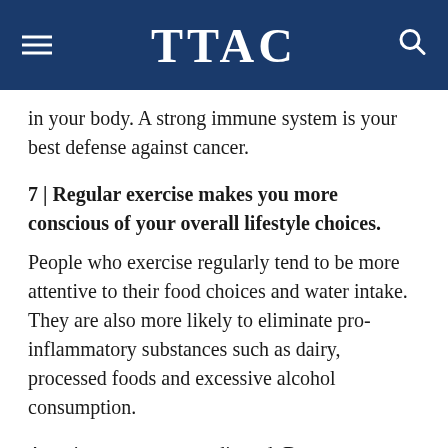TTAC
in your body. A strong immune system is your best defense against cancer.
7 | Regular exercise makes you more conscious of your overall lifestyle choices.
People who exercise regularly tend to be more attentive to their food choices and water intake. They are also more likely to eliminate pro-inflammatory substances such as dairy, processed foods and excessive alcohol consumption.
Americans are over-medicated. Because our medical institutions are funded and led by the pharmaceutical industry, we now live in a world with “a pill for every ill.” But you can take control of